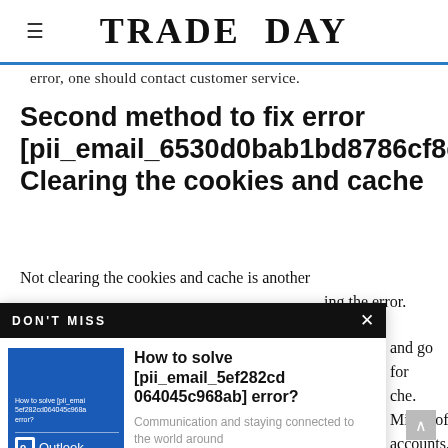TRADE DAY
error, one should contact customer service.
Second method to fix error [pii_email_6530d0bab1bd8786cf8e]: Clearing the cookies and cache
Not clearing the cookies and cache is another reason for causing the error.
[Figure (other): DON'T MISS promotional overlay card featuring an Outlook-branded thumbnail and article title 'How to solve [pii_email_5ef282cd064045c968ab] error?' with description 'Communication and staying connected to the world around']
start the laptop again. Open the Microsoft account. It should solve the problem.